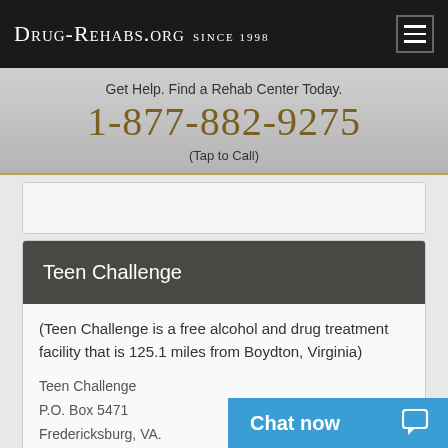Drug-Rehabs.org Since 1998
Get Help. Find a Rehab Center Today.
1-877-882-9275
(Tap to Call)
Teen Challenge
(Teen Challenge is a free alcohol and drug treatment facility that is 125.1 miles from Boydton, Virginia)
Teen Challenge
P.O. Box 5471
Fredericksburg, VA.